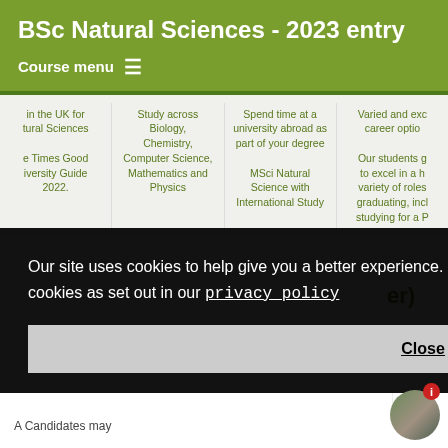BSc Natural Sciences - 2023 entry
Course menu
in the UK for tural Sciences e Times Good iversity Guide 2022.
Study across Biology, Chemistry, Computer Science, Mathematics and Physics
Spend time at a university abroad as part of your degree MSci Natural Science with International Study
Varied and exc career optio Our students g to excel in a h variety of roles graduating, incl studying for a P
Our site uses cookies to help give you a better experience. By continuing to use it you consent to the use of cookies as set out in our privacy policy
Close
er)
A Candidates may